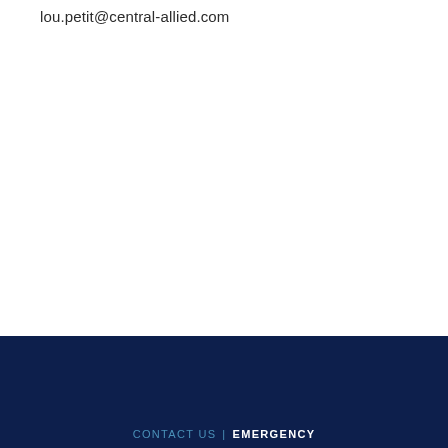lou.petit@central-allied.com
CONTACT US | EMERGENCY